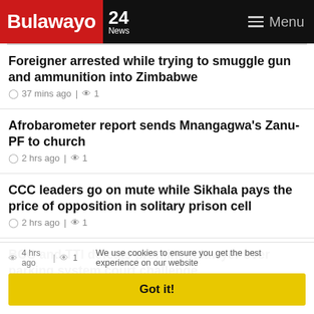Bulawayo 24 News — Menu
Foreigner arrested while trying to smuggle gun and ammunition into Zimbabwe
37 mins ago | 1
Afrobarometer report sends Mnangagwa's Zanu-PF to church
2 hrs ago | 1
CCC leaders go on mute while Sikhala pays the price of opposition in solitary prison cell
2 hrs ago | 1
BCC and TTI defeats prominent lawyer over parking system court challenge
4 hrs ago | 1
We use cookies to ensure you get the best experience on our website
Got it!